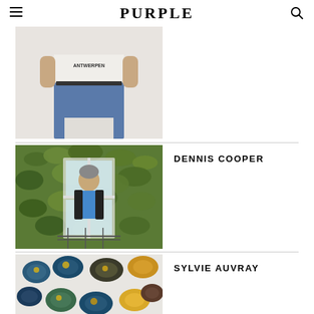PURPLE
[Figure (photo): Person from torso down wearing Antwerpen t-shirt and high-waisted jeans, hands on hips, standing against white background]
[Figure (photo): Dennis Cooper standing at a window surrounded by lush green ivy and foliage, wearing a blue shirt]
DENNIS COOPER
[Figure (photo): Colorful ceramic or glass disc-like art objects in blue, green, yellow and black tones laid out on a white surface]
SYLVIE AUVRAY